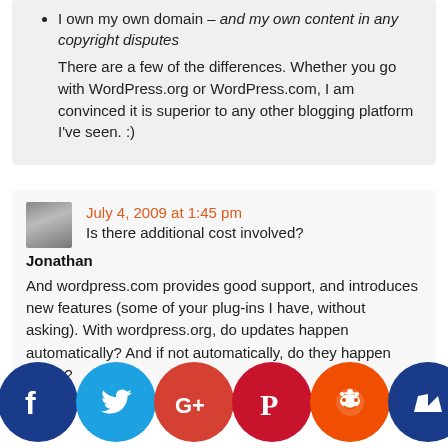I own my own domain – and my own content in any copyright disputes
There are a few of the differences. Whether you go with WordPress.org or WordPress.com, I am convinced it is superior to any other blogging platform I've seen. :)
July 4, 2009 at 1:45 pm
Is there additional cost involved?
Jonathan
And wordpress.com provides good support, and introduces new features (some of your plug-ins I have, without asking). With wordpress.org, do updates happen automatically? And if not automatically, do they happen easily?
[Figure (infographic): Social media sharing buttons: Facebook (dark blue), Twitter (light blue), Google+ (red-orange), Pinterest (dark red), Reddit (orange), Crown/unknown (dark blue)]